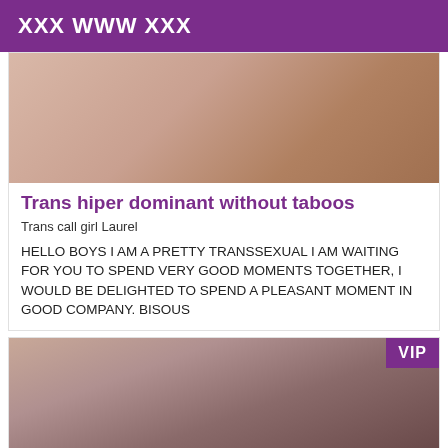XXX WWW XXX
[Figure (photo): Close-up skin/body photo at top of listing card]
Trans hiper dominant without taboos
Trans call girl Laurel
HELLO BOYS I AM A PRETTY TRANSSEXUAL I AM WAITING FOR YOU TO SPEND VERY GOOD MOMENTS TOGETHER, I WOULD BE DELIGHTED TO SPEND A PLEASANT MOMENT IN GOOD COMPANY. BISOUS
[Figure (photo): Photo of a woman in lingerie with VIP badge in top-right corner]